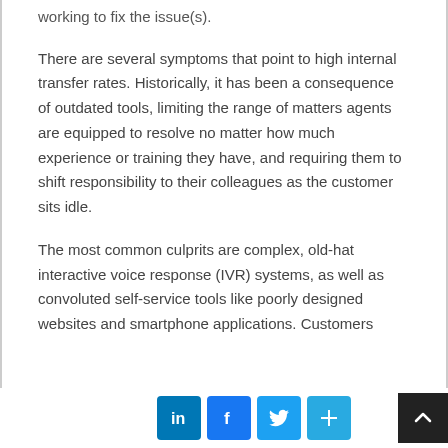working to fix the issue(s).
There are several symptoms that point to high internal transfer rates. Historically, it has been a consequence of outdated tools, limiting the range of matters agents are equipped to resolve no matter how much experience or training they have, and requiring them to shift responsibility to their colleagues as the customer sits idle.
The most common culprits are complex, old-hat interactive voice response (IVR) systems, as well as convoluted self-service tools like poorly designed websites and smartphone applications. Customers
Social share icons and back-to-top button